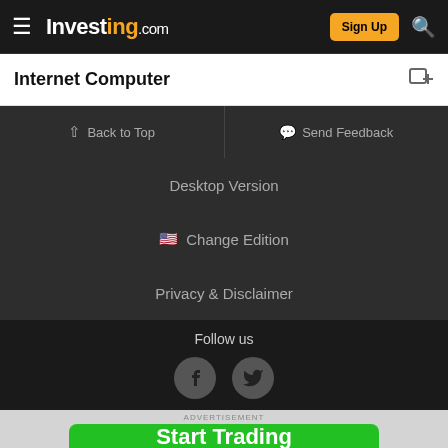Investing.com
Internet Computer
Back to Top
Send Feedback
Desktop Version
Change Edition
Privacy & Disclaimer
Follow us
[Figure (illustration): Facebook and Twitter social media icons in dark grey circles]
ADVERTISEMENT
Start Trading | AD |